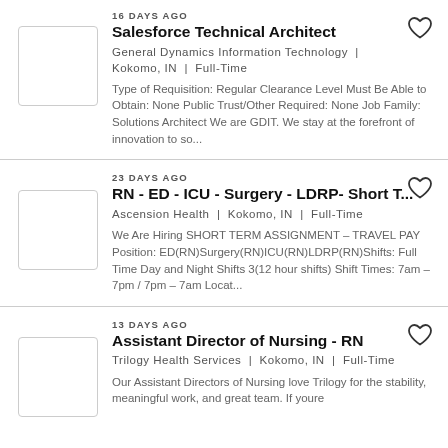16 DAYS AGO
Salesforce Technical Architect
General Dynamics Information Technology | Kokomo, IN | Full-Time
Type of Requisition: Regular Clearance Level Must Be Able to Obtain: None Public Trust/Other Required: None Job Family: Solutions Architect We are GDIT. We stay at the forefront of innovation to so...
23 DAYS AGO
RN - ED - ICU - Surgery - LDRP- Short T...
Ascension Health | Kokomo, IN | Full-Time
We Are Hiring SHORT TERM ASSIGNMENT – TRAVEL PAY Position: ED(RN)Surgery(RN)ICU(RN)LDRP(RN)Shifts: Full Time Day and Night Shifts 3(12 hour shifts) Shift Times: 7am – 7pm / 7pm – 7am Locat...
13 DAYS AGO
Assistant Director of Nursing - RN
Trilogy Health Services | Kokomo, IN | Full-Time
Our Assistant Directors of Nursing love Trilogy for the stability, meaningful work, and great team. If youre